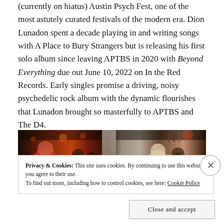(currently on hiatus) Austin Psych Fest, one of the most astutely curated festivals of the modern era. Dion Lunadon spent a decade playing in and writing songs with A Place to Bury Strangers but is releasing his first solo album since leaving APTBS in 2020 with Beyond Everything due out June 10, 2022 on In the Red Records. Early singles promise a driving, noisy psychedelic rock album with the dynamic flourishes that Lunadon brought so masterfully to APTBS and The D4.
[Figure (photo): A dark, crowded bar or venue scene with people visible, taken at night with warm reddish-orange ambient lighting.]
Privacy & Cookies: This site uses cookies. By continuing to use this website, you agree to their use.
To find out more, including how to control cookies, see here: Cookie Policy
Close and accept